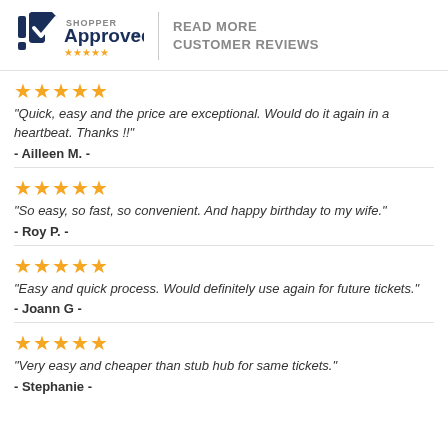Shopper Approved | READ MORE CUSTOMER REVIEWS
★★★★★ "Quick, easy and the price are exceptional. Would do it again in a heartbeat. Thanks !!" - Ailleen M. -
★★★★★ "So easy, so fast, so convenient. And happy birthday to my wife." - Roy P. -
★★★★★ "Easy and quick process. Would definitely use again for future tickets." - Joann G -
★★★★★ "Very easy and cheaper than stub hub for same tickets." - Stephanie -